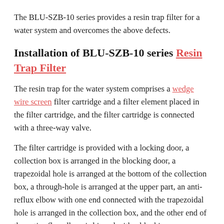The BLU-SZB-10 series provides a resin trap filter for a water system and overcomes the above defects.
Installation of BLU-SZB-10 series Resin Trap Filter
The resin trap for the water system comprises a wedge wire screen filter cartridge and a filter element placed in the filter cartridge, and the filter cartridge is connected with a three-way valve.
The filter cartridge is provided with a locking door, a collection box is arranged in the blocking door, a trapezoidal hole is arranged at the bottom of the collection box, a through-hole is arranged at the upper part, an anti-reflux elbow with one end connected with the trapezoidal hole is arranged in the collection box, and the other end of the anti-reflux elbow is hinged with a blocking cover.